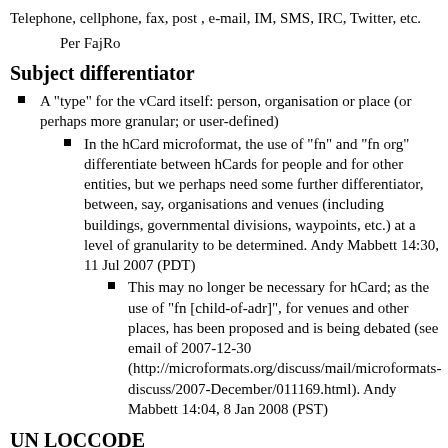Telephone, cellphone, fax, post , e-mail, IM, SMS, IRC, Twitter, etc.
Per FajRo
Subject differentiator
A "type" for the vCard itself: person, organisation or place (or perhaps more granular; or user-defined)
In the hCard microformat, the use of "fn" and "fn org" differentiate between hCards for people and for other entities, but we perhaps need some further differentiator, between, say, organisations and venues (including buildings, governmental divisions, waypoints, etc.) at a level of granularity to be determined. Andy Mabbett 14:30, 11 Jul 2007 (PDT)
This may no longer be necessary for hCard; as the use of "fn [child-of-adr]", for venues and other places, has been proposed and is being debated (see email of 2007-12-30 (http://microformats.org/discuss/mail/microformats-discuss/2007-December/011169.html). Andy Mabbett 14:04, 8 Jan 2008 (PST)
UN LOCCODE